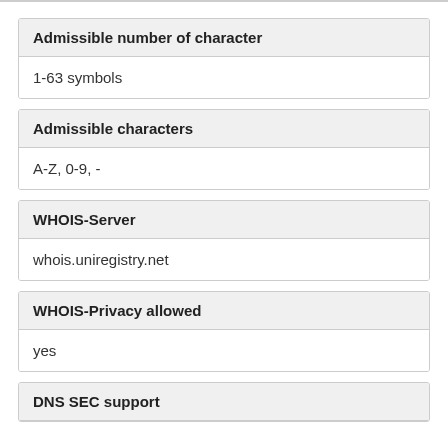| Admissible number of character |
| --- |
| 1-63 symbols |
| Admissible characters |
| --- |
| A-Z, 0-9, - |
| WHOIS-Server |
| --- |
| whois.uniregistry.net |
| WHOIS-Privacy allowed |
| --- |
| yes |
| DNS SEC support |
| --- |
|  |